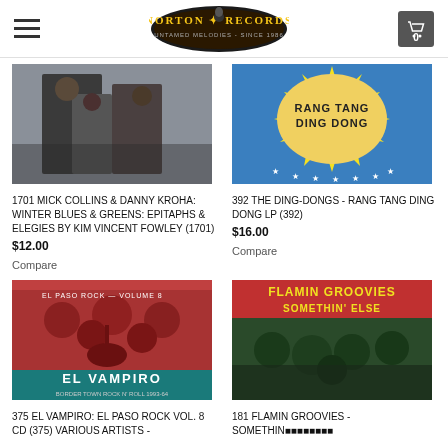Norton Records
[Figure (photo): Album cover for Mick Collins & Danny Kroha: Winter Blues & Greens - two men in dark clothing outdoors]
1701 MICK COLLINS & DANNY KROHA: WINTER BLUES & GREENS: EPITAPHS & ELEGIES BY KIM VINCENT FOWLEY (1701)
$12.00
Compare
[Figure (photo): Album cover: Rang Tang Ding Dong - blue and yellow starburst design with text]
392 THE DING-DONGS - RANG TANG DING DONG LP (392)
$16.00
Compare
[Figure (photo): El Vampiro: El Paso Rock Vol. 8 CD - red tinted photo of band with guitar players, El Vampiro text at bottom]
375 EL VAMPIRO: EL PASO ROCK VOL. 8 CD (375) VARIOUS ARTISTS -
[Figure (photo): Flamin Groovies - Somethin' Else album cover - red header text, green tinted band photo]
181 FLAMIN GROOVIES - SOMETHIN'